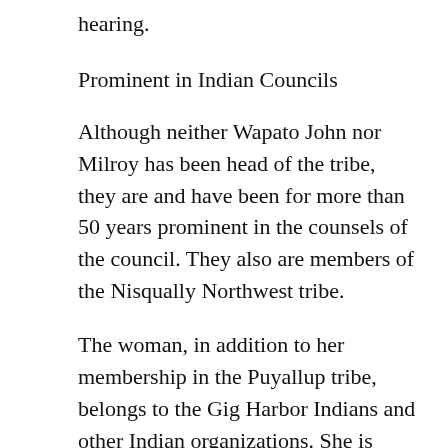hearing.
Prominent in Indian Councils
Although neither Wapato John nor Milroy has been head of the tribe, they are and have been for more than 50 years prominent in the counsels of the council. They also are members of the Nisqually Northwest tribe.
The woman, in addition to her membership in the Puyallup tribe, belongs to the Gig Harbor Indians and other Indian organizations. She is estimated to be about 85 years old, and probably is the youngest of the trio. She was a girl of 13 or 14 when she attended the Medicine